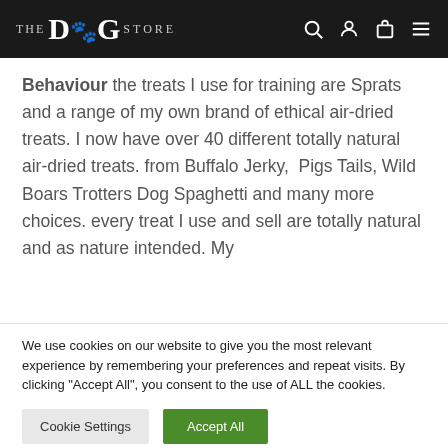THE DOG STORE
Behaviour the treats I use for training are Sprats and a range of my own brand of ethical air-dried treats. I now have over 40 different totally natural air-dried treats. from Buffalo Jerky, Pigs Tails, Wild Boars Trotters Dog Spaghetti and many more choices. every treat I use and sell are totally natural and as nature intended. My
We use cookies on our website to give you the most relevant experience by remembering your preferences and repeat visits. By clicking "Accept All", you consent to the use of ALL the cookies. However, you may visit "Cookie Settings" to provide a controlled consent.
Cookie Settings
Accept All